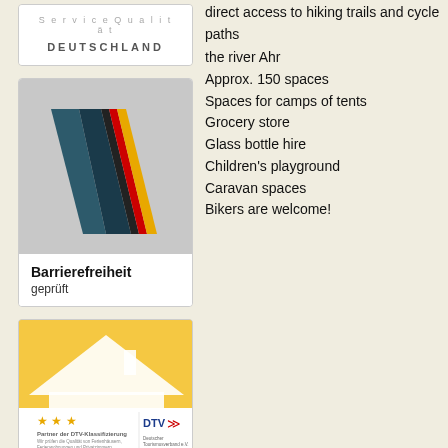[Figure (logo): ServiceQualität Deutschland logo badge - white box with grey text 'ServiceQualität' and bold 'DEUTSCHLAND']
[Figure (logo): Barrierefreiheit geprüft badge with large checkmark V in dark blue with German flag colors (black, red, gold), grey background, white bottom area with bold text 'Barrierefreiheit geprüft']
[Figure (logo): DTV Klassifizierung badge - yellow background with white house silhouette, stars rating, text 'Partner der DTV-Klassifizierung', DTV logo with eagle]
direct access to hiking trails and cycle paths the river Ahr
Approx. 150 spaces
Spaces for camps of tents
Grocery store
Glass bottle hire
Children's playground
Caravan spaces
Bikers are welcome!